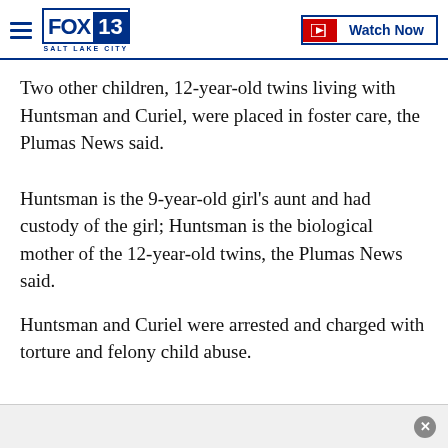FOX 13 SALT LAKE CITY — Watch Now
Two other children, 12-year-old twins living with Huntsman and Curiel, were placed in foster care, the Plumas News said.
Huntsman is the 9-year-old girl's aunt and had custody of the girl; Huntsman is the biological mother of the 12-year-old twins, the Plumas News said.
Huntsman and Curiel were arrested and charged with torture and felony child abuse.